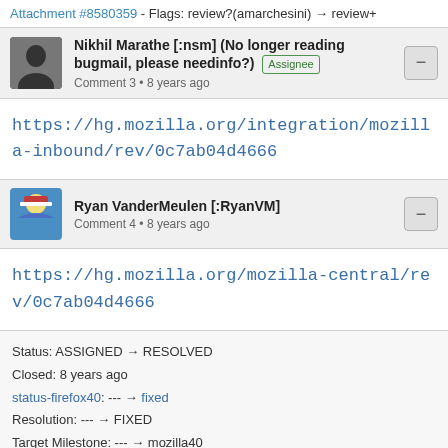Attachment #8580359 - Flags: review?(amarchesini) → review+
Nikhil Marathe [:nsm] (No longer reading bugmail, please needinfo?) Assignee
Comment 3 • 8 years ago
https://hg.mozilla.org/integration/mozilla-inbound/rev/0c7ab04d4666
Ryan VanderMeulen [:RyanVM]
Comment 4 • 8 years ago
https://hg.mozilla.org/mozilla-central/rev/0c7ab04d4666
Status: ASSIGNED → RESOLVED
Closed: 8 years ago
status-firefox40: --- → fixed
Resolution: --- → FIXED
Target Milestone: --- → mozilla40
Chris Mills [:cmills]